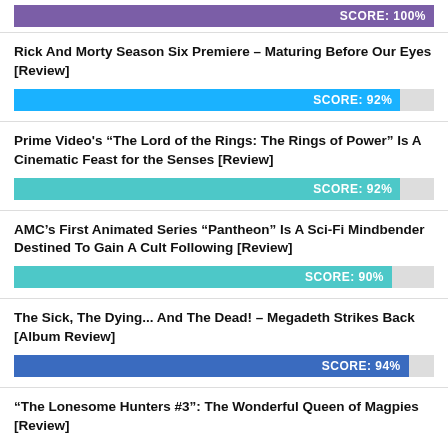[Figure (infographic): Score bar showing SCORE: 100% in purple]
Rick And Morty Season Six Premiere – Maturing Before Our Eyes [Review]
[Figure (infographic): Score bar showing SCORE: 92% in blue]
Prime Video's “The Lord of the Rings: The Rings of Power” Is A Cinematic Feast for the Senses [Review]
[Figure (infographic): Score bar showing SCORE: 92% in teal]
AMC’s First Animated Series “Pantheon” Is A Sci-Fi Mindbender Destined To Gain A Cult Following [Review]
[Figure (infographic): Score bar showing SCORE: 90% in teal]
The Sick, The Dying... And The Dead! – Megadeth Strikes Back [Album Review]
[Figure (infographic): Score bar showing SCORE: 94% in dark blue]
“The Lonesome Hunters #3”: The Wonderful Queen of Magpies [Review]